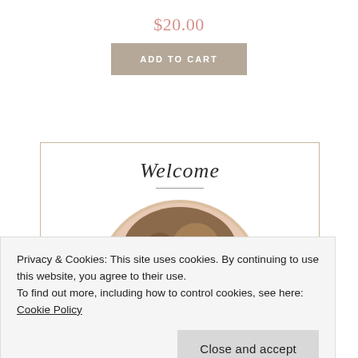$20.00
ADD TO CART
Welcome
[Figure (photo): Circular cropped profile photo of a person with grey/blonde hair, partially visible, cropped at top of frame]
Privacy & Cookies: This site uses cookies. By continuing to use this website, you agree to their use.
To find out more, including how to control cookies, see here: Cookie Policy
Close and accept